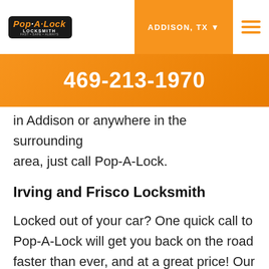[Figure (logo): Pop-A-Lock Locksmith logo with dark background and orange text]
ADDISON, TX ▾
469-213-1970
in Addison or anywhere in the surrounding area, just call Pop-A-Lock.
Irving and Frisco Locksmith
Locked out of your car? One quick call to Pop-A-Lock will get you back on the road faster than ever, and at a great price! Our experienced locksmith technicians are all